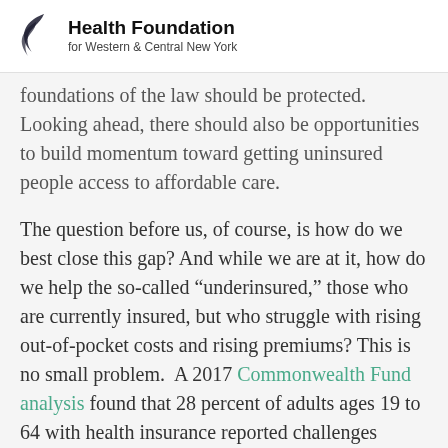Health Foundation for Western & Central New York
foundations of the law should be protected. Looking ahead, there should also be opportunities to build momentum toward getting uninsured people access to affordable care.
The question before us, of course, is how do we best close this gap? And while we are at it, how do we help the so-called “underinsured,” those who are currently insured, but who struggle with rising out-of-pocket costs and rising premiums? This is no small problem. A 2017 Commonwealth Fund analysis found that 28 percent of adults ages 19 to 64 with health insurance reported challenges paying their out of pocket costs or premiums.